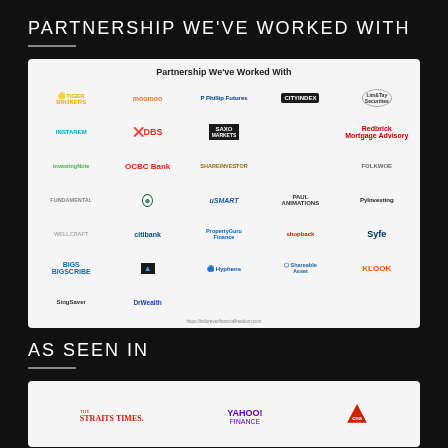PARTNERSHIP WE'VE WORKED WITH
[Figure (infographic): Grid of partner brand logos including Tiger Brokers, moomoo, Phillip Futures, City Index, Lim & Tan Securities, InstaRem, DBS, Saxo Markets, Redbrick Mortgage Advisory, InvestingNote, OCBC Bank, ShareInvestor, Folkwoe, Fundamental, uSMART, Paul Animations, PyInvesting, Wellcraft, Citibank, PropertyGuru Finance, ShopBack, Syfe, BigScribe, Arc, Hyphens, Shareable Asset, KLOOK, SingSaver, DrWealth]
AS SEEN IN
[Figure (infographic): Media logos: The Straits Times, Yahoo Finance, CNA]